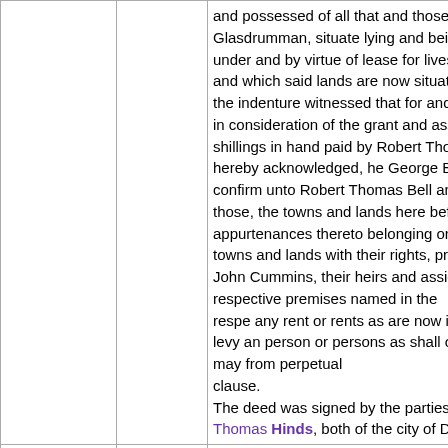| Type | Date | Description |
| --- | --- | --- |
|  |  | and possessed of all that and those the Glasdrumman, situate lying and being under and by virtue of lease for lives r and which said lands are now situate f the indenture witnessed that for and in in consideration of the grant and asses shillings in hand paid by Robert Thom hereby acknowledged, he George Burr confirm unto Robert Thomas Bell and those, the towns and lands here before appurtenances thereto belonging or in towns and lands with their rights, prem John Cummins, their heirs and assigns respective premises named in the respe any rent or rents as are now in levy an person or persons as shall or may from perpetual clause. The deed was signed by the parties, wi Thomas Hinds, both of the city of Du |
| Marriage Settlement | 7 November 1810 | The second deed was an indented deed made between Andrew Bell of Drumbl Bell, his wife, of the one part, and Ma Andrew and Catherine (Clarke) Bell o Ralph Clarke, late of Drumheel, duly |